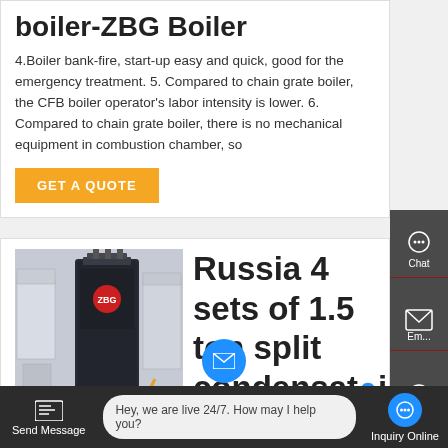boiler-ZBG Boiler
4.Boiler bank-fire, start-up easy and quick, good for the emergency treatment. 5. Compared to chain grate boiler, the CFB boiler operator's labor intensity is lower. 6. Compared to chain grate boiler, there is no mechanical equipment in combustion chamber, so
GET A QUOTE
[Figure (photo): Industrial boiler unit photographed in a warehouse or factory setting, showing a tall dark-colored vertical steam boiler with a red base unit on a pallet jack]
Russia 4 sets of 1.5 ton split condensat oil steam
[Figure (infographic): Right sidebar with Chat, Email, and Contact icons on dark gray background]
Hey, we are live 24/7. How may I help you?
Send Message
Inquiry Online